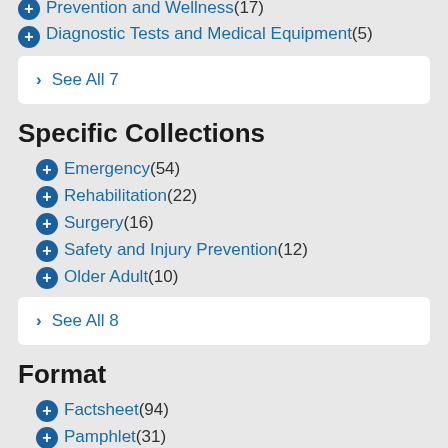Prevention and Wellness (17)
Diagnostic Tests and Medical Equipment (5)
See All 7
Specific Collections
Emergency (54)
Rehabilitation (22)
Surgery (16)
Safety and Injury Prevention (12)
Older Adult (10)
See All 8
Format
Factsheet (94)
Pamphlet (31)
Booklet (26)
Poster (10)